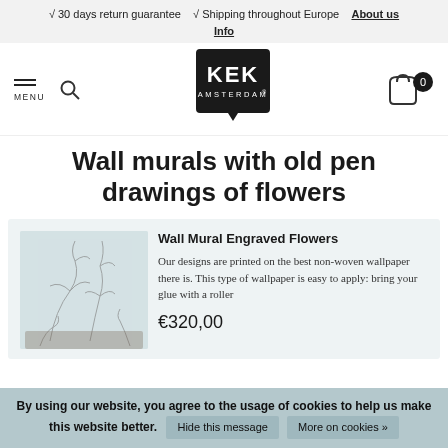√ 30 days return guarantee   √ Shipping throughout Europe   About us   Info
[Figure (logo): KEK Amsterdam logo — black speech-bubble shape with KEK AMSTERDAM® text in white]
Wall murals with old pen drawings of flowers
[Figure (photo): Product photo of Wall Mural Engraved Flowers showing botanical pen drawing wallpaper in a room setting]
Wall Mural Engraved Flowers
Our designs are printed on the best non-woven wallpaper there is. This type of wallpaper is easy to apply: bring your glue with a roller
€320,00
By using our website, you agree to the usage of cookies to help us make this website better.   Hide this message   More on cookies »